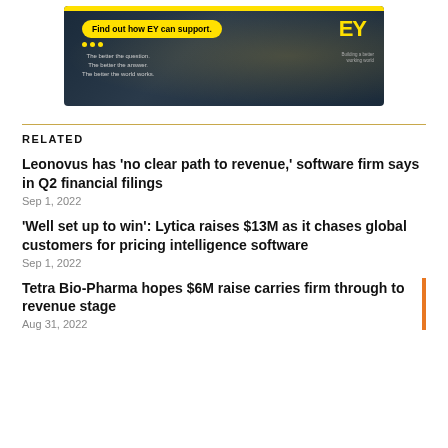[Figure (illustration): EY advertisement banner with dark background, bokeh lights, yellow 'Find out how EY can support.' button, three yellow dots, tagline text 'The better the question. The better the answer. The better the world works.' and EY logo on the right]
RELATED
Leonovus has 'no clear path to revenue,' software firm says in Q2 financial filings
Sep 1, 2022
'Well set up to win': Lytica raises $13M as it chases global customers for pricing intelligence software
Sep 1, 2022
Tetra Bio-Pharma hopes $6M raise carries firm through to revenue stage
Aug 31, 2022